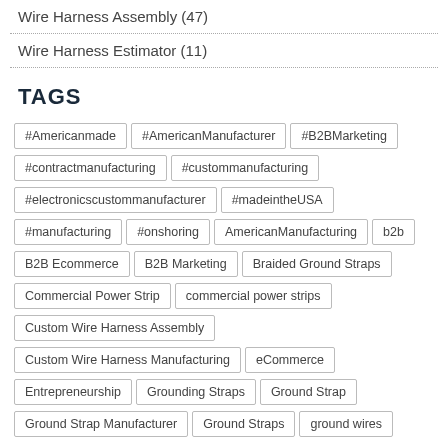Wire Harness Assembly (47)
Wire Harness Estimator (11)
TAGS
#Americanmade #AmericanManufacturer #B2BMarketing #contractmanufacturing #custommanufacturing #electronicscustommanufacturer #madeintheUSA #manufacturing #onshoring AmericanManufacturing b2b B2B Ecommerce B2B Marketing Braided Ground Straps Commercial Power Strip commercial power strips Custom Wire Harness Assembly Custom Wire Harness Manufacturing eCommerce Entrepreneurship Grounding Straps Ground Strap Ground Strap Manufacturer Ground Straps ground wires